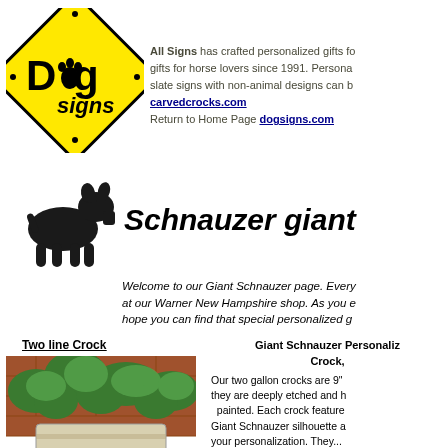[Figure (logo): DogSigns yellow diamond-shaped road sign logo with paw print]
All Signs has crafted personalized gifts for dog lovers and gifts for horse lovers since 1991. Personalized rock, garden and slate signs with non-animal designs can be found at carvedcrocks.com Return to Home Page dogsigns.com
[Figure (illustration): Black silhouette of a Giant Schnauzer dog]
Schnauzer giant
Welcome to our Giant Schnauzer page. Every item is handcrafted at our Warner New Hampshire shop. As you explore our site we hope you can find that special personalized g...
Two line Crock
[Figure (photo): Photo of a two-line personalized crock with ANDERSON text on it, decorated with greenery]
Giant Schnauzer Personalized Two Line Crock, Our two gallon crocks are 9" they are deeply etched and hand painted. Each crock features a Giant Schnauzer silhouette and your personalization. They...